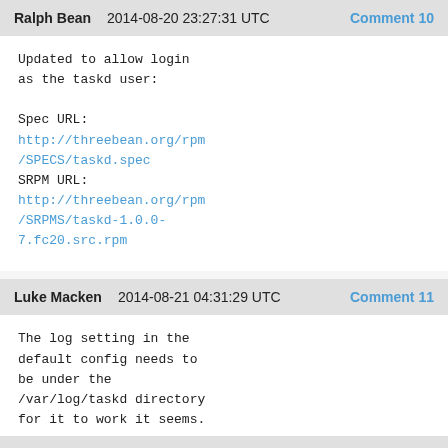Ralph Bean  2014-08-20 23:27:31 UTC  Comment 10
Updated to allow login
as the taskd user:

Spec URL:
http://threebean.org/rpm/SPECS/taskd.spec
SRPM URL:
http://threebean.org/rpm/SRPMS/taskd-1.0.0-7.fc20.src.rpm
Luke Macken  2014-08-21 04:31:29 UTC  Comment 11
The log setting in the
default config needs to
be under the
/var/log/taskd directory
for it to work it seems.